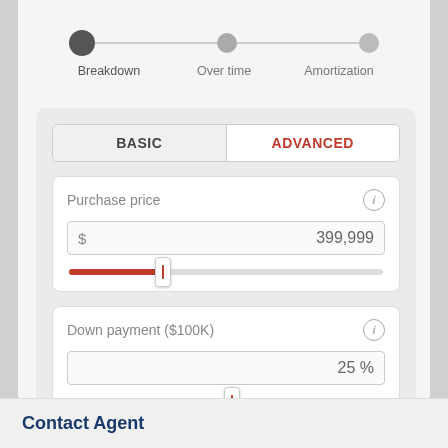[Figure (screenshot): Mortgage calculator UI with step indicator showing Breakdown (active), Over time, and Amortization steps. Below are BASIC and ADVANCED tabs (ADVANCED selected in red). Two input cards: Purchase price showing $399,999 with a slider, and Down payment ($100K) showing 25% with a slider.]
Breakdown
Over time
Amortization
BASIC
ADVANCED
Purchase price
$ 399,999
Down payment ($100K)
25 %
Contact Agent